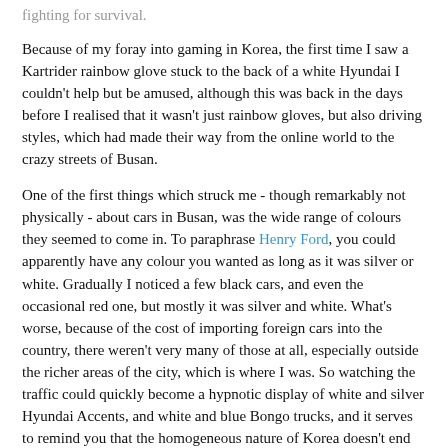fighting for survival.
Because of my foray into gaming in Korea, the first time I saw a Kartrider rainbow glove stuck to the back of a white Hyundai I couldn't help but be amused, although this was back in the days before I realised that it wasn't just rainbow gloves, but also driving styles, which had made their way from the online world to the crazy streets of Busan.
One of the first things which struck me - though remarkably not physically - about cars in Busan, was the wide range of colours they seemed to come in. To paraphrase Henry Ford, you could apparently have any colour you wanted as long as it was silver or white. Gradually I noticed a few black cars, and even the occasional red one, but mostly it was silver and white. What's worse, because of the cost of importing foreign cars into the country, there weren't very many of those at all, especially outside the richer areas of the city, which is where I was. So watching the traffic could quickly become a hypnotic display of white and silver Hyundai Accents, and white and blue Bongo trucks, and it serves to remind you that the homogeneous nature of Korea doesn't end on the road. I found it interesting to note though, that in the